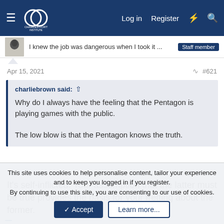Charles Fort Institute forum navigation bar — Log in | Register
[Figure (screenshot): Avatar thumbnail of a user (partial image of a figure/skull)]
I knew the job was dangerous when I took it ...  Staff member
Apr 15, 2021  #621
charliebrown said: ↑

Why do I always have the feeling that the Pentagon is playing games with the public.

The low blow is that the Pentagon knows the truth.
It's self-inflicted. Your assumption that the latter must be true provides the basis for your fretting about the former.
This site uses cookies to help personalise content, tailor your experience and to keep you logged in if you register. By continuing to use this site, you are consenting to our use of cookies.